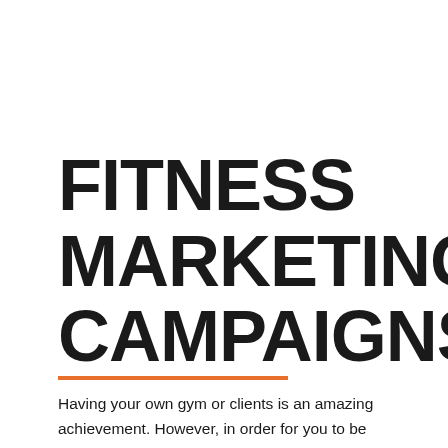FITNESS MARKETING CAMPAIGNS
Having your own gym or clients is an amazing achievement. However, in order for you to be successful, you are going to need more clients. This